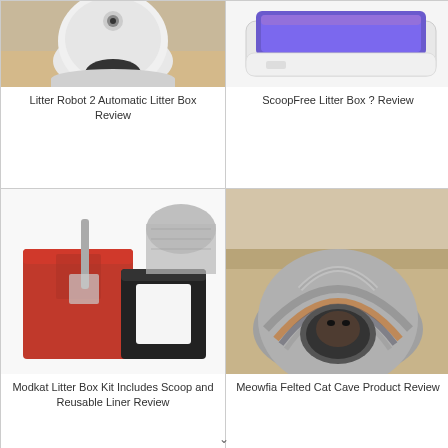[Figure (photo): Litter Robot 2 automatic self-cleaning litter box, white dome-shaped device on wooden floor]
Litter Robot 2 Automatic Litter Box Review
[Figure (photo): ScoopFree litter box with blue/purple tray, white rectangular device]
ScoopFree Litter Box ? Review
[Figure (photo): Modkat litter box kit with scoop, showing red and black/white cube-shaped litter boxes]
Modkat Litter Box Kit Includes Scoop and Reusable Liner Review
[Figure (photo): Meowfia felted cat cave on a couch with a cat inside, gray and striped round cave]
Meowfia Felted Cat Cave Product Review